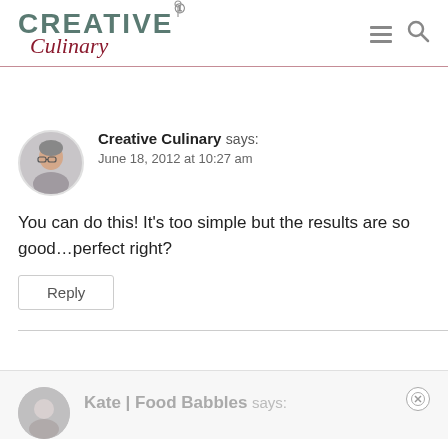[Figure (logo): Creative Culinary website logo with fork icon, 'CREATIVE' in teal bold uppercase and 'Culinary' in dark red cursive script]
Creative Culinary says:
June 18, 2012 at 10:27 am
You can do this! It's too simple but the results are so good...perfect right?
Reply
Kate | Food Babbles says: